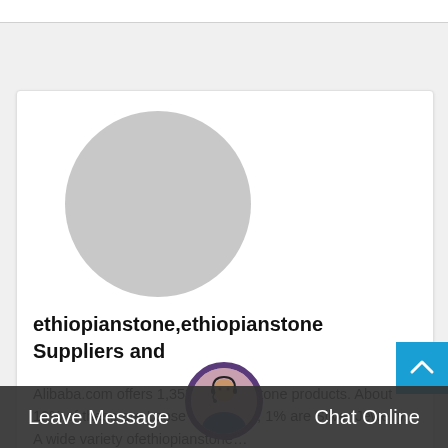[Figure (illustration): Gray circle placeholder avatar image]
ethiopianstone,ethiopianstone Suppliers and
Alibaba.com offers 1,353ethiopianstone products. About 19% of these are Loose Gemstone, 1% are Silver Jewelry. A wide variety ofethiopianstone…
Read More →
[Figure (photo): Customer support agent photo in circular frame at bottom center]
Leave Message   Chat Online